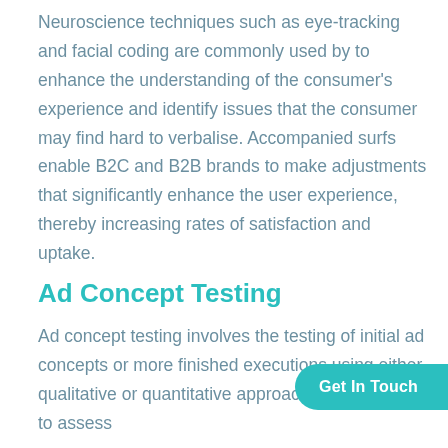Neuroscience techniques such as eye-tracking and facial coding are commonly used by to enhance the understanding of the consumer's experience and identify issues that the consumer may find hard to verbalise. Accompanied surfs enable B2C and B2B brands to make adjustments that significantly enhance the user experience, thereby increasing rates of satisfaction and uptake.
Ad Concept Testing
Ad concept testing involves the testing of initial ad concepts or more finished executions using either qualitative or quantitative approaches. Designed to assess